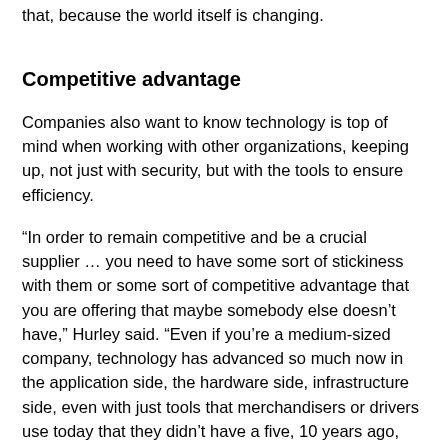that, because the world itself is changing.
Competitive advantage
Companies also want to know technology is top of mind when working with other organizations, keeping up, not just with security, but with the tools to ensure efficiency.
“In order to remain competitive and be a crucial supplier … you need to have some sort of stickiness with them or some sort of competitive advantage that you are offering that maybe somebody else doesn’t have,” Hurley said. “Even if you’re a medium-sized company, technology has advanced so much now in the application side, the hardware side, infrastructure side, even with just tools that merchandisers or drivers use today that they didn’t have a five, 10 years ago, really is not just the nice to have anymore, it’s a need to have.”